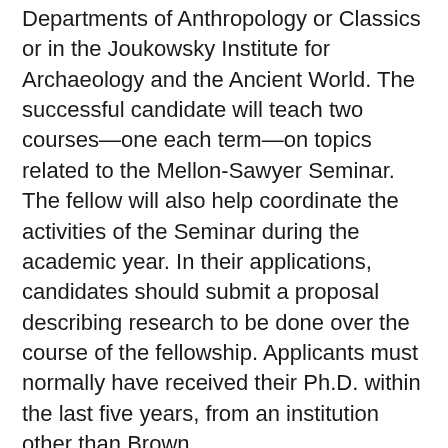Departments of Anthropology or Classics or in the Joukowsky Institute for Archaeology and the Ancient World. The successful candidate will teach two courses—one each term—on topics related to the Mellon-Sawyer Seminar. The fellow will also help coordinate the activities of the Seminar during the academic year. In their applications, candidates should submit a proposal describing research to be done over the course of the fellowship. Applicants must normally have received their Ph.D. within the last five years, from an institution other than Brown.
All candidates should submit a letter of application, a list and brief description of proposed courses, and curriculum vitae by April 1, 2013. Applicants should arrange for three letters of reference to be submitted by the application deadline. Applications received by that date will receive full consideration, but the search will remain open until the position is closed or filled.
Applications should be submitted online at...